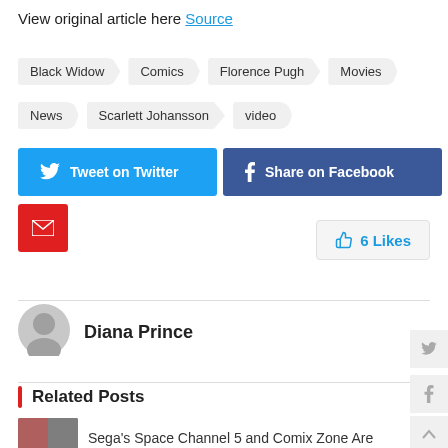View original article here Source
Black Widow
Comics
Florence Pugh
Movies
News
Scarlett Johansson
video
[Figure (other): Tweet on Twitter social share button (blue)]
[Figure (other): Share on Facebook social share button (dark blue)]
[Figure (other): Pinterest share button (red)]
[Figure (other): Email share button (red)]
6 Likes
[Figure (other): Author avatar circle placeholder]
Diana Prince
Related Posts
Sega's Space Channel 5 and Comix Zone Are